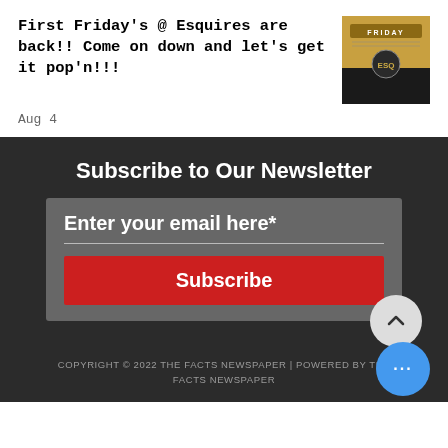First Friday's @ Esquires are back!! Come on down and let's get it pop'n!!!
[Figure (photo): Photo of Esquires venue sign with 'First Friday' text and ESQ logo]
Aug 4
Subscribe to Our Newsletter
Enter your email here*
Subscribe
COPYRIGHT © 2022 THE FACTS NEWSPAPER | POWERED BY THE FACTS NEWSPAPER